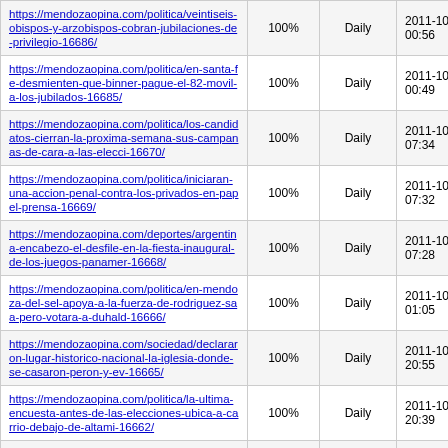| URL | Priority | Frequency | Last Modified |
| --- | --- | --- | --- |
| https://mendozaopina.com/politica/veintiseis-obispos-y-arzobispos-cobran-jubilaciones-de-privilegio-16686/ | 100% | Daily | 2011-10 00:56 |
| https://mendozaopina.com/politica/en-santa-fe-desmienten-que-binner-pague-el-82-movil-a-los-jubilados-16685/ | 100% | Daily | 2011-10 00:49 |
| https://mendozaopina.com/politica/los-candidatos-cierran-la-proxima-semana-sus-campanas-de-cara-a-las-elecci-16670/ | 100% | Daily | 2011-10 07:34 |
| https://mendozaopina.com/politica/iniciaran-una-accion-penal-contra-los-privados-en-papel-prensa-16669/ | 100% | Daily | 2011-10 07:32 |
| https://mendozaopina.com/deportes/argentina-encabezo-el-desfile-en-la-fiesta-inaugural-de-los-juegos-panamer-16668/ | 100% | Daily | 2011-10 07:28 |
| https://mendozaopina.com/politica/en-mendoza-del-sel-apoya-a-la-fuerza-de-rodriguez-saa-pero-votara-a-duhald-16666/ | 100% | Daily | 2011-10 01:05 |
| https://mendozaopina.com/sociedad/declararon-lugar-historico-nacional-la-iglesia-donde-se-casaron-peron-y-ev-16665/ | 100% | Daily | 2011-10 20:55 |
| https://mendozaopina.com/politica/la-ultima-encuesta-antes-de-las-elecciones-ubica-a-carrio-debajo-de-altami-16662/ | 100% | Daily | 2011-10 20:39 |
| https://mendozaopina.com/tecnologia/robots-solidarios-y-ecologistas-compiten-por-primera-vez-en-mendoza-16657/ | 100% | Daily | 2011-10 03:43 |
| https://mendozaopina.com/politica/para-anibal- | 100% | Daily |  |